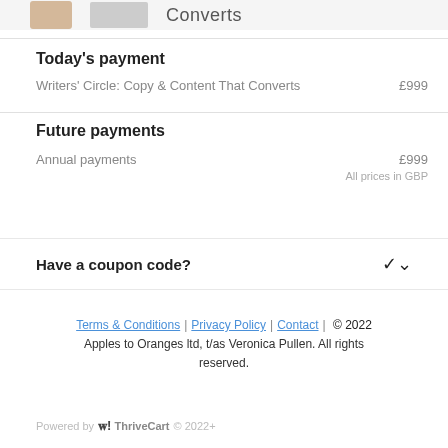[Figure (screenshot): Cropped top of page showing partial product images and 'Converts' heading text]
Today's payment
Writers' Circle: Copy & Content That Converts    £999
Future payments
Annual payments    £999
All prices in GBP
Have a coupon code?
Terms & Conditions | Privacy Policy | Contact | © 2022 Apples to Oranges ltd, t/as Veronica Pullen. All rights reserved.
Powered by ThriveCart © 2022+